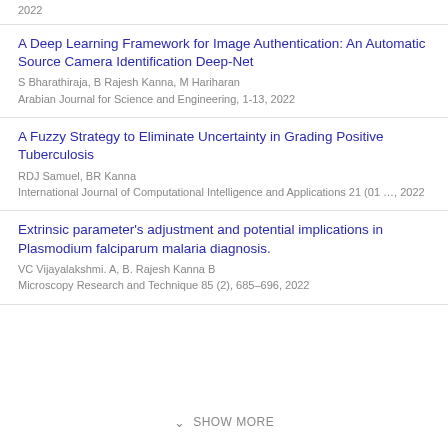2022
A Deep Learning Framework for Image Authentication: An Automatic Source Camera Identification Deep-Net
S Bharathiraja, B Rajesh Kanna, M Hariharan
Arabian Journal for Science and Engineering, 1-13, 2022
A Fuzzy Strategy to Eliminate Uncertainty in Grading Positive Tuberculosis
RDJ Samuel, BR Kanna
International Journal of Computational Intelligence and Applications 21 (01 …, 2022
Extrinsic parameter's adjustment and potential implications in Plasmodium falciparum malaria diagnosis.
VC Vijayalakshmi. A, B. Rajesh Kanna B
Microscopy Research and Technique 85 (2), 685–696, 2022
SHOW MORE